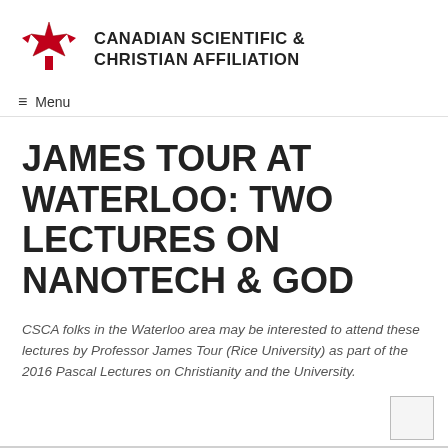CANADIAN SCIENTIFIC & CHRISTIAN AFFILIATION
≡ Menu
JAMES TOUR AT WATERLOO: TWO LECTURES ON NANOTECH & GOD
CSCA folks in the Waterloo area may be interested to attend these lectures by Professor James Tour (Rice University) as part of the 2016 Pascal Lectures on Christianity and the University.